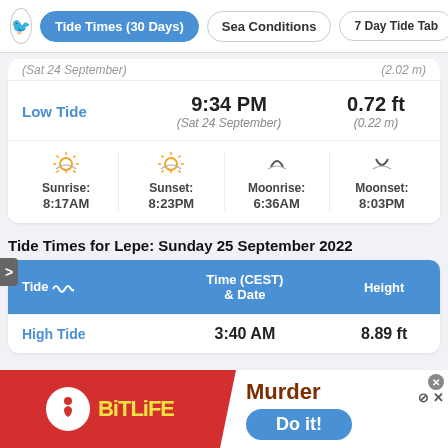Tide Times (30 Days) | Sea Conditions | 7 Day Tide Tab
(Sat 24 September) ... (2.02 m)
|  |  |  |
| --- | --- | --- |
| Low Tide | 9:34 PM
(Sat 24 September) | 0.72 ft
(0.22 m) |
Sunrise: 8:17AM  Sunset: 8:23PM  Moonrise: 6:36AM  Moonset: 8:03PM
Tide Times for Lepe: Sunday 25 September 2022
| Tide | Time (CEST)
& Date | Height |
| --- | --- | --- |
| High Tide | 3:40 AM | 8.89 ft |
[Figure (other): BitLife advertisement banner with Murder / Do it! text]